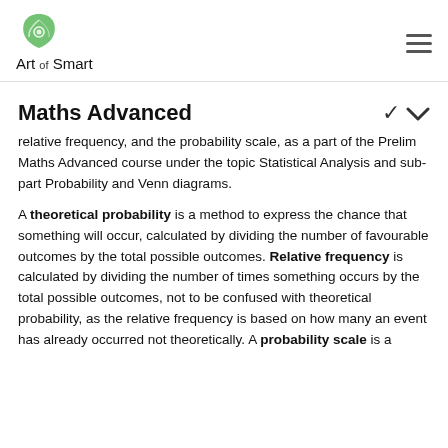Art of Smart
Maths Advanced
relative frequency, and the probability scale, as a part of the Prelim Maths Advanced course under the topic Statistical Analysis and sub-part Probability and Venn diagrams.
A theoretical probability is a method to express the chance that something will occur, calculated by dividing the number of favourable outcomes by the total possible outcomes. Relative frequency is calculated by dividing the number of times something occurs by the total possible outcomes, not to be confused with theoretical probability, as the relative frequency is based on how many an event has already occurred not theoretically. A probability scale is a